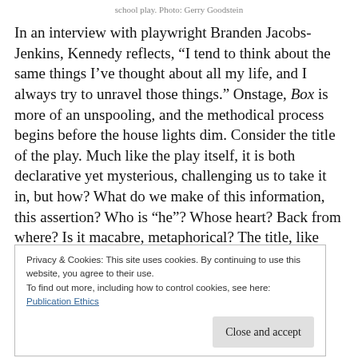school play. Photo: Gerry Goodstein
In an interview with playwright Branden Jacobs-Jenkins, Kennedy reflects, “I tend to think about the same things I’ve thought about all my life, and I always try to unravel those things.” Onstage, Box is more of an unspooling, and the methodical process begins before the house lights dim. Consider the title of the play. Much like the play itself, it is both declarative yet mysterious, challenging us to take it in, but how? What do we make of this information, this assertion? Who is “he”? Whose heart? Back from where? Is it macabre, metaphorical? The title, like other elements of cinema and literature
Privacy & Cookies: This site uses cookies. By continuing to use this website, you agree to their use.
To find out more, including how to control cookies, see here:
Publication Ethics
human while being stripped of humanity.